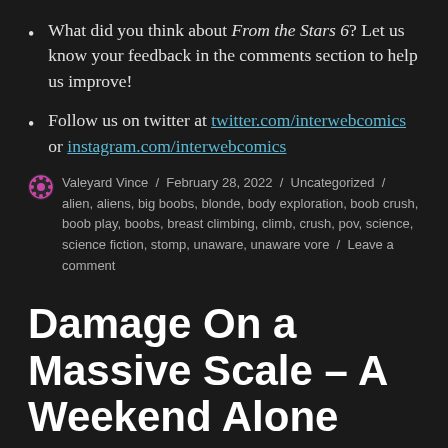What did you think about From the Stars 6? Let us know your feedback in the comments section to help us improve!
Follow us on twitter at twitter.com/interwebcomics or instagram.com/interwebcomics
Valeyard Vince / February 28, 2022 / Uncategorized / alien, aliens, big boobs, blonde, body exploration, boob crush, boob play, boobs, breast climbing, climb, crush, pov, science, science fiction, stomp, unaware, unaware vore / Leave a comment
Damage On a Massive Scale – A Weekend Alone